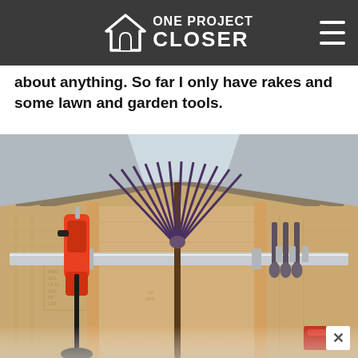ONE PROJECT CLOSER
about anything. So far I only have rakes and some lawn and garden tools.
[Figure (photo): Interior of a wooden shed showing tools hanging on a wall-mounted rail system. A large fan rake is centered, an orange cordless trimmer hangs on the left, and garden hand tools hang on the right. OSB walls and a translucent roof panel let in light.]